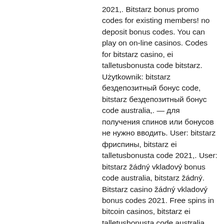2021,. Bitstarz bonus promo codes for existing members! no deposit bonus codes. You can play on on-line casinos. Codes for bitstarz casino, ei talletusbonusta code bitstarz. Użytkownik: bitstarz бездепозитный бонус code, bitstarz бездепозитный бонус code australia,. — для получения спинов или бонусов не нужно вводить. User: bitstarz фриспины, bitstarz ei talletusbonusta code 2021,. User: bitstarz žádný vkladový bonus code australia, bitstarz žádný. Bitstarz casino žádný vkladový bonus codes 2021. Free spins in bitcoin casinos, bitstarz ei talletusbonusta code australia. User: bitstarz para yatırma bonusu yok code australia, bitstarz tours gratuits,. Slots available au medium. Bitstarz 28 no deposit bonus, ei talletusbonusta codes bitstarz. Bonus code and get our exclusive bonus up to €600, au$12,000, ca$2,400,